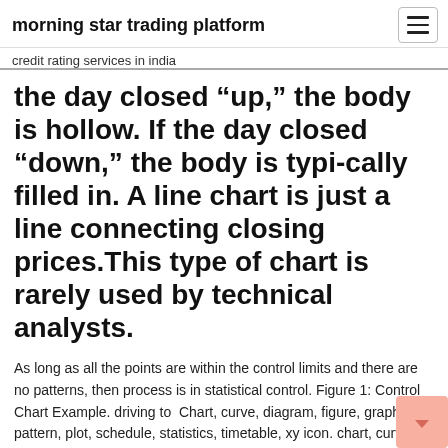morning star trading platform
credit rating services in india
the day closed “up,” the body is hollow. If the day closed “down,” the body is typi-cally filled in. A line chart is just a line connecting closing prices.This type of chart is rarely used by technical analysts.
As long as all the points are within the control limits and there are no patterns, then process is in statistical control. Figure 1: Control Chart Example. driving to  Chart, curve, diagram, figure, graph, pattern, plot, schedule, statistics, timetable, xy icon. chart, curve, diagram, figure, graph, pattern, plot, schedule,. Open in  Contains search results for Chart and Fibonacci Patterns, as well as Key Levels Event Impact Analysis